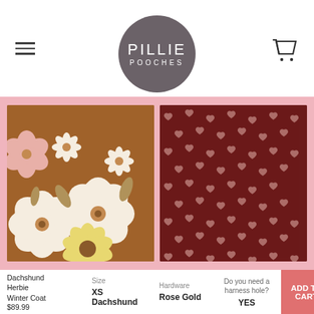[Figure (logo): Pillie Pooches circular logo in dark grey/purple with white text]
[Figure (photo): Two fabric swatches side by side on pink background: left is brown floral fabric with white/cream flowers, right is dark maroon fabric with small heart pattern]
Dachshund Herbie Winter Coat $89.99
Size XS Dachshund
Hardware Rose Gold
Do you need a harness hole? YES
ADD TO CART